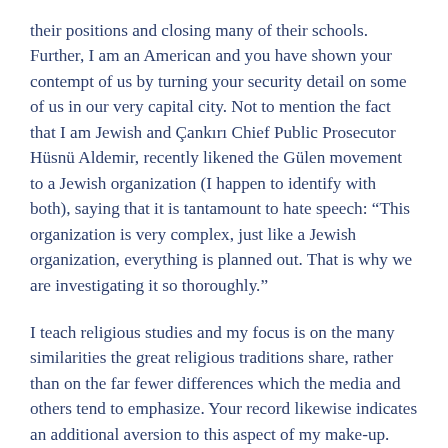their positions and closing many of their schools. Further, I am an American and you have shown your contempt of us by turning your security detail on some of us in our very capital city. Not to mention the fact that I am Jewish and Çankırı Chief Public Prosecutor Hüsnü Aldemir, recently likened the Gülen movement to a Jewish organization (I happen to identify with both), saying that it is tantamount to hate speech: “This organization is very complex, just like a Jewish organization, everything is planned out. That is why we are investigating it so thoroughly.”
I teach religious studies and my focus is on the many similarities the great religious traditions share, rather than on the far fewer differences which the media and others tend to emphasize. Your record likewise indicates an additional aversion to this aspect of my make-up. Let’s just agree to say we disagree on many matters.